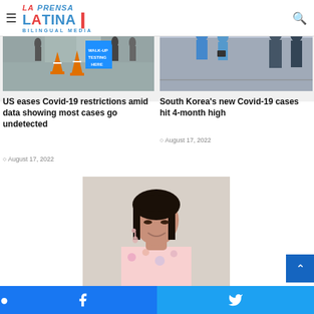La Prensa Latina Bilingual Media
[Figure (photo): COVID-19 walk-up testing site with orange traffic cones and a sign reading WALK-UP TESTING HERE, people walking in background]
[Figure (photo): COVID-19 testing scene in South Korea, people in blue protective gear checking individuals]
US eases Covid-19 restrictions amid data showing most cases go undetected
August 17, 2022
South Korea's new Covid-19 cases hit 4-month high
August 17, 2022
[Figure (photo): Young Latina woman with dark hair and bangs, wearing a floral top and tassel earrings, looking down and smiling]
Facebook share | Twitter share social buttons